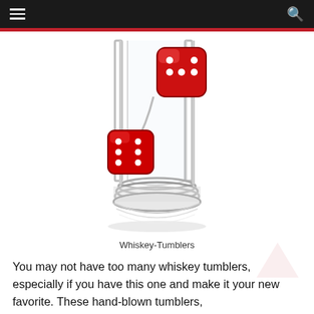Navigation bar with hamburger menu and search icon
[Figure (photo): A clear glass whiskey tumbler with two red translucent dice falling inside it, photographed on a white background. The glass has a thick weighted base with ridged rings. The dice are red with white dots showing various faces.]
Whiskey-Tumblers
You may not have too many whiskey tumblers, especially if you have this one and make it your new favorite. These hand-blown tumblers,